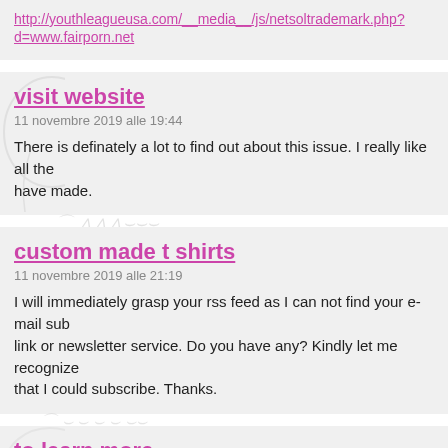http://youthleagueusa.com/__media__/js/netsoltrademark.php?d=www.fairporn.net
visit website
11 novembre 2019 alle 19:44
There is definately a lot to find out about this issue. I really like all the have made.
custom made t shirts
11 novembre 2019 alle 21:19
I will immediately grasp your rss feed as I can not find your e-mail subscription link or newsletter service. Do you have any? Kindly let me recognize so that I could subscribe. Thanks.
to learn more
11 novembre 2019 alle 21:57
My brother suggested I might like this website. He was totally right. This truly made my day. You cann at imagine simply how much time I had